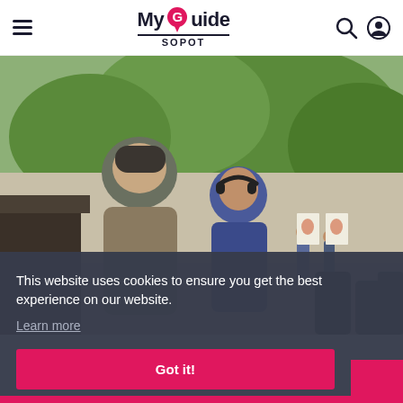[Figure (screenshot): MyGuide Sopot website header with hamburger menu, logo, search and user icons]
[Figure (photo): Outdoor scene at a shooting range, two men in foreground, one in grey shirt and cap handing something to another in blue sweater with headphones, green trees in background]
This website uses cookies to ensure you get the best experience on our website.
Learn more
Got it!